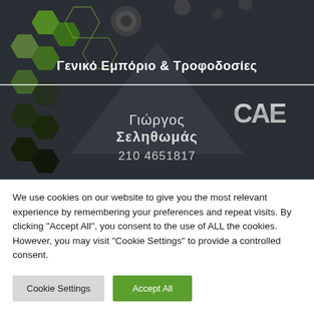[Figure (photo): Business card image showing a dark background with green hexagon pattern and mechanical parts. Text reads 'Γενικό Εμπόριο & Τροφοδοσίες' at top, CAE logo on right, and contact info: 'Γιώργος Σεληθωμάς, 210 4651817']
We use cookies on our website to give you the most relevant experience by remembering your preferences and repeat visits. By clicking "Accept All", you consent to the use of ALL the cookies. However, you may visit "Cookie Settings" to provide a controlled consent.
Cookie Settings
Accept All